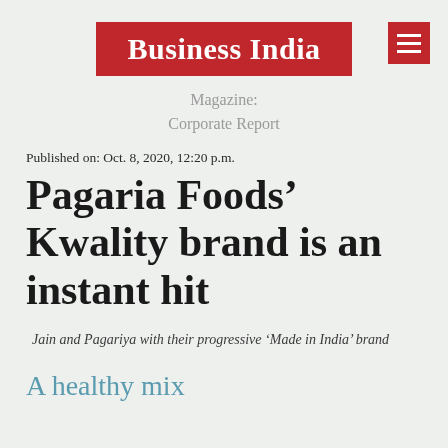[Figure (logo): Business India magazine logo — red rectangle with white bold serif text 'Business India']
Magazine:
Corporate Report
Published on: Oct. 8, 2020, 12:20 p.m.
Pagaria Foods’ Kwality brand is an instant hit
Jain and Pagariya with their progressive ‘Made in India’ brand
A healthy mix